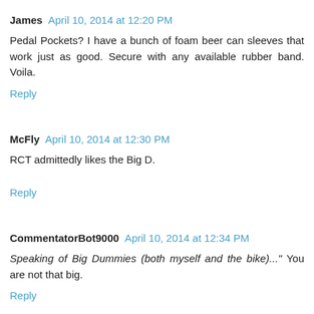James  April 10, 2014 at 12:20 PM
Pedal Pockets? I have a bunch of foam beer can sleeves that work just as good. Secure with any available rubber band. Voila.
Reply
McFly  April 10, 2014 at 12:30 PM
RCT admittedly likes the Big D.
Reply
CommentatorBot9000  April 10, 2014 at 12:34 PM
Speaking of Big Dummies (both myself and the bike)..." You are not that big.
Reply